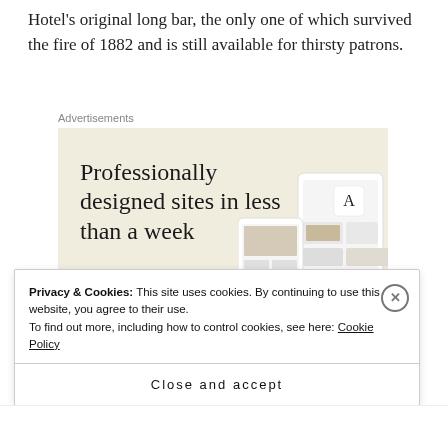Hotel's original long bar, the only one of which survived the fire of 1882 and is still available for thirsty patrons.
Advertisements
[Figure (other): Advertisement for a website design service. Beige/cream background with large serif text reading 'Professionally designed sites in less than a week', a green 'Explore options' button, and mockup images of websites on the right side.]
Privacy & Cookies: This site uses cookies. By continuing to use this website, you agree to their use.
To find out more, including how to control cookies, see here: Cookie Policy
Close and accept